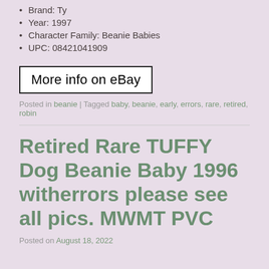Brand: Ty
Year: 1997
Character Family: Beanie Babies
UPC: 08421041909
[Figure (other): More info on eBay button/link with black border on white background]
Posted in beanie | Tagged baby, beanie, early, errors, rare, retired, robin
Retired Rare TUFFY Dog Beanie Baby 1996 witherrors please see all pics. MWMT PVC
Posted on August 18, 2022